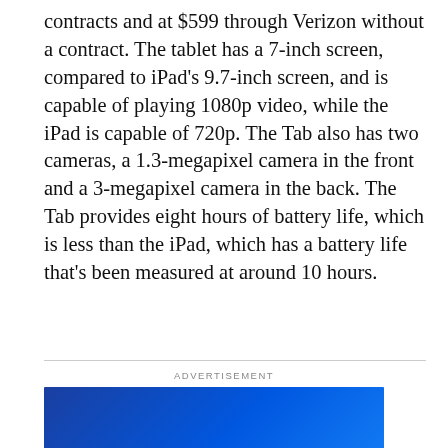contracts and at $599 through Verizon without a contract. The tablet has a 7-inch screen, compared to iPad’s 9.7-inch screen, and is capable of playing 1080p video, while the iPad is capable of 720p. The Tab also has two cameras, a 1.3-megapixel camera in the front and a 3-megapixel camera in the back. The Tab provides eight hours of battery life, which is less than the iPad, which has a battery life that’s been measured at around 10 hours.
ADVERTISEMENT
[Figure (logo): Best Buy advertisement banner with blue gradient background and white bold BEST BUY text with yellow price tag graphic element]